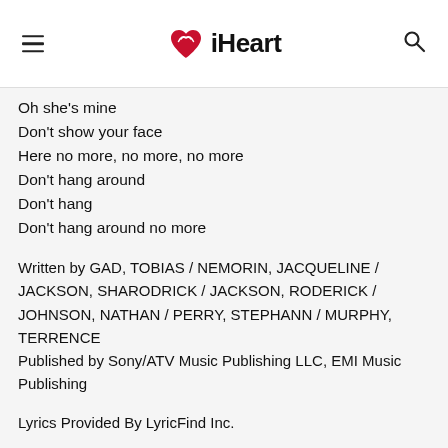iHeart
Oh she's mine
Don't show your face
Here no more, no more, no more
Don't hang around
Don't hang
Don't hang around no more
Written by GAD, TOBIAS / NEMORIN, JACQUELINE / JACKSON, SHARODRICK / JACKSON, RODERICK / JOHNSON, NATHAN / PERRY, STEPHANN / MURPHY, TERRENCE
Published by Sony/ATV Music Publishing LLC, EMI Music Publishing
Lyrics Provided By LyricFind Inc.
Advertise With Us
Similar Artists ›